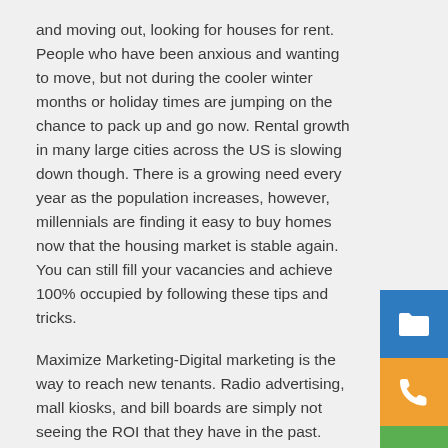and moving out, looking for houses for rent. People who have been anxious and wanting to move, but not during the cooler winter months or holiday times are jumping on the chance to pack up and go now. Rental growth in many large cities across the US is slowing down though. There is a growing need every year as the population increases, however, millennials are finding it easy to buy homes now that the housing market is stable again. You can still fill your vacancies and achieve 100% occupied by following these tips and tricks.
Maximize Marketing-Digital marketing is the way to reach new tenants. Radio advertising, mall kiosks, and bill boards are simply not seeing the ROI that they have in the past. Making sure you can reach your future tenants online is important and your marketing budget should reflect that. Someone on your property management team should be an expert in SEO and the newest virtual reality marketing trends.
Automate it-If your tenants are students, they expect a response to any inquiry, whether an emergency or not, within 2 hours. You should try to be available during business hours for future tenants, but you should also make sure to respond to inquiries
[Figure (illustration): Three sidebar buttons: a blue folder icon, an orange phone icon, and a green envelope icon]